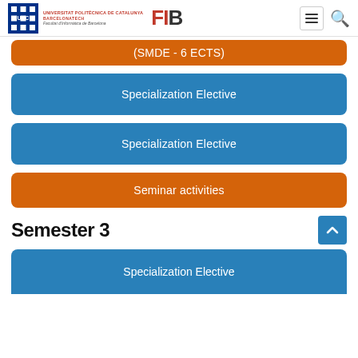UNIVERSITAT POLITÈCNICA DE CATALUNYA BARCELONATECH Facultat d'Informàtica de Barcelona | FIB
(SMDE - 6 ECTS)
Specialization Elective
Specialization Elective
Seminar activities
Semester 3
Specialization Elective